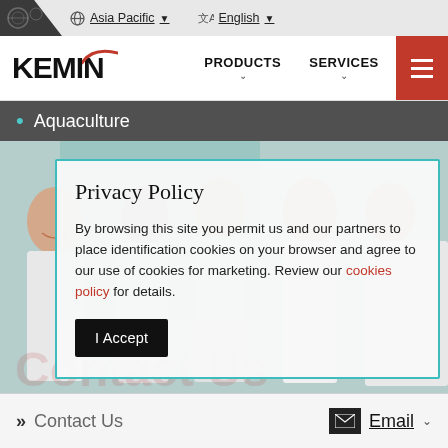Asia Pacific   English
[Figure (screenshot): Kemin website navigation bar with logo, PRODUCTS and SERVICES menu items, and hamburger menu button]
• Aquaculture
[Figure (photo): Group of people in lab coats smiling]
Privacy Policy
By browsing this site you permit us and our partners to place identification cookies on your browser and agree to our use of cookies for marketing. Review our cookies policy for details.
I Accept
Contact Us   Email